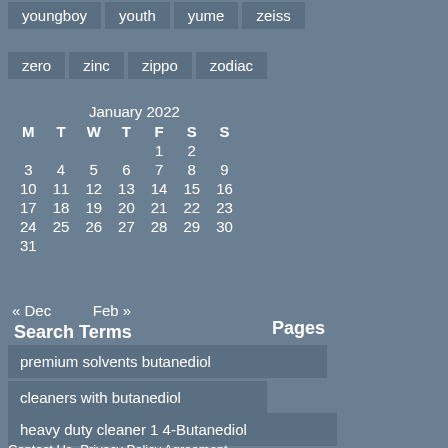youngboy
youth
yume
zeiss
zero
zinc
zippo
zodiac
| M | T | W | T | F | S | S |
| --- | --- | --- | --- | --- | --- | --- |
|  |  |  |  | 1 | 2 |  |
| 3 | 4 | 5 | 6 | 7 | 8 | 9 |
| 10 | 11 | 12 | 13 | 14 | 15 | 16 |
| 17 | 18 | 19 | 20 | 21 | 22 | 23 |
| 24 | 25 | 26 | 27 | 28 | 29 | 30 |
| 31 |  |  |  |  |  |  |
« Dec   Feb »
Search Terms
Pages
premium solvents butanediol
cleaners with butanediol
heavy duty cleaner 1 4-Butanediol
Contact Us   Privacy Policy Agreement